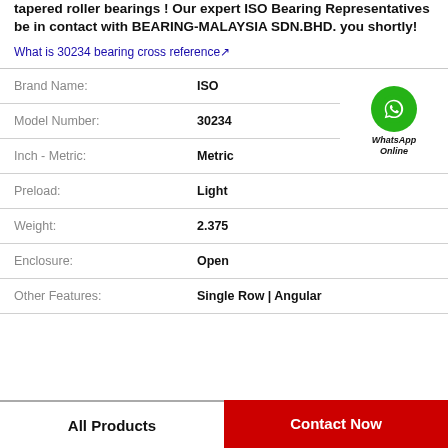tapered roller bearings ! Our expert ISO Bearing Representatives be in contact with BEARING-MALAYSIA SDN.BHD. you shortly!
What is 30234 bearing cross reference↗
| Field | Value |
| --- | --- |
| Brand Name: | ISO |
| Model Number: | 30234 |
| Inch - Metric: | Metric |
| Preload: | Light |
| Weight: | 2.375 |
| Enclosure: | Open |
| Other Features: | Single Row | Angular |
All Products
Contact Now